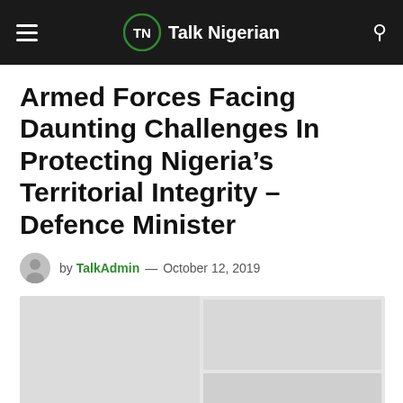Talk Nigerian
Armed Forces Facing Daunting Challenges In Protecting Nigeria’s Territorial Integrity – Defence Minister
by TalkAdmin — October 12, 2019
[Figure (photo): Photograph related to the article about Nigeria Armed Forces and Defence Minister]